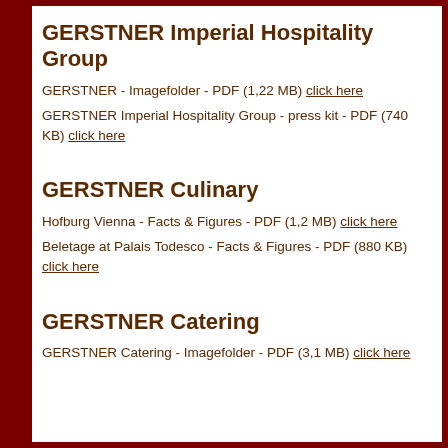GERSTNER Imperial Hospitality Group
GERSTNER - Imagefolder - PDF (1,22 MB) click here
GERSTNER Imperial Hospitality Group - press kit - PDF (740 KB) click here
GERSTNER Culinary
Hofburg Vienna - Facts & Figures - PDF (1,2 MB) click here
Beletage at Palais Todesco - Facts & Figures - PDF (880 KB) click here
GERSTNER Catering
GERSTNER Catering - Imagefolder - PDF (3,1 MB) click here